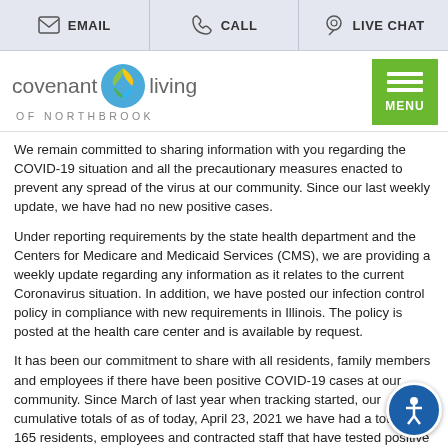EMAIL   CALL   LIVE CHAT
[Figure (logo): Covenant Living of Northbrook logo with green leaf and blue circle icon, and green MENU button]
We remain committed to sharing information with you regarding the COVID-19 situation and all the precautionary measures enacted to prevent any spread of the virus at our community. Since our last weekly update, we have had no new positive cases.
Under reporting requirements by the state health department and the Centers for Medicare and Medicaid Services (CMS), we are providing a weekly update regarding any information as it relates to the current Coronavirus situation. In addition, we have posted our infection control policy in compliance with new requirements in Illinois. The policy is posted at the health care center and is available by request.
It has been our commitment to share with all residents, family members and employees if there have been positive COVID-19 cases at our community. Since March of last year when tracking started, our cumulative totals of as of today, April 23, 2021 we have had a total of 165 residents, employees and contracted staff that have tested positive for COVID-19. Of those, 12 residents are from residential living, 26 residents are from assisted living, 54 residents are from